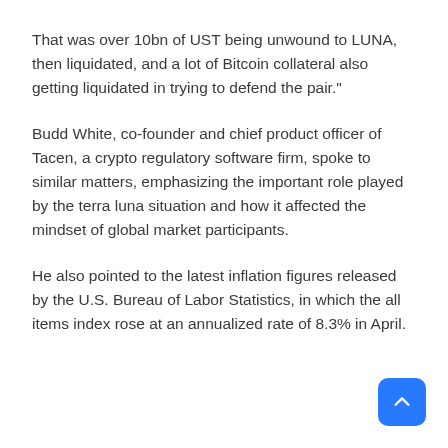That was over 10bn of UST being unwound to LUNA, then liquidated, and a lot of Bitcoin collateral also getting liquidated in trying to defend the pair."
Budd White, co-founder and chief product officer of Tacen, a crypto regulatory software firm, spoke to similar matters, emphasizing the important role played by the terra luna situation and how it affected the mindset of global market participants.
He also pointed to the latest inflation figures released by the U.S. Bureau of Labor Statistics, in which the all items index rose at an annualized rate of 8.3% in April.